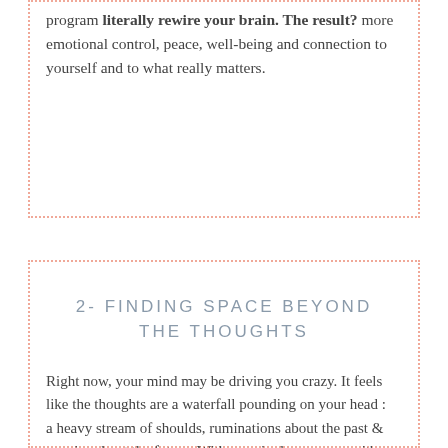program literally rewire your brain. The result? more emotional control, peace, well-being and connection to yourself and to what really matters.
2- FINDING SPACE BEYOND THE THOUGHTS
Right now, your mind may be driving you crazy. It feels like the thoughts are a waterfall pounding on your head : a heavy stream of shoulds, ruminations about the past & worries about the future. With seemingly no escape, it's painful.
Through the practices you'll learn in the mindfulness-based stress reduction program,